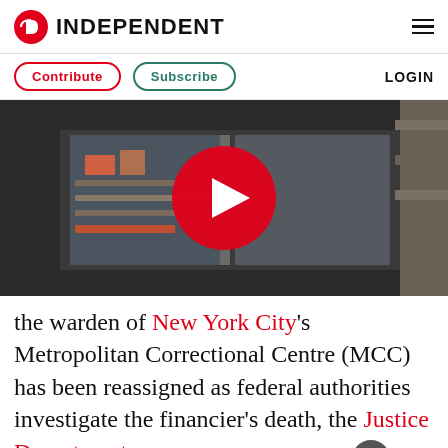INDEPENDENT
Contribute  Subscribe  LOGIN
[Figure (photo): Video thumbnail showing exterior of Metropolitan Correctional Centre building with a red play button overlay in the center]
the warden of New York City's Metropolitan Correctional Centre (MCC) has been reassigned as federal authorities investigate the financier's death, the Justice Department